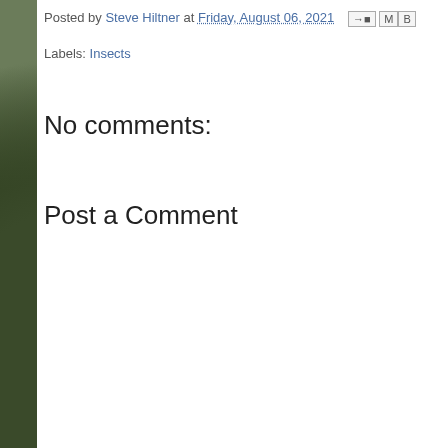Posted by Steve Hiltner at Friday, August 06, 2021
Labels: Insects
No comments:
Post a Comment
Newer Post
Home
Subscribe to: Post Comments (Atom)
[Figure (photo): Aerial/landscape photo of forest canopy with mist, green trees seen from above]
Picture Window t